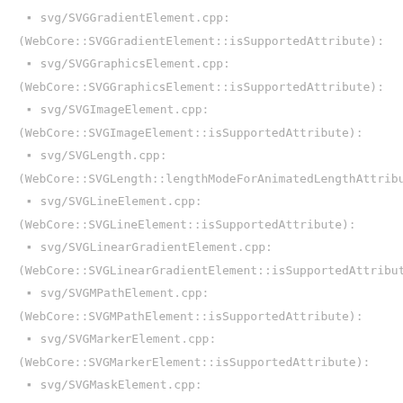svg/SVGGradientElement.cpp:
(WebCore::SVGGradientElement::isSupportedAttribute):
svg/SVGGraphicsElement.cpp:
(WebCore::SVGGraphicsElement::isSupportedAttribute):
svg/SVGImageElement.cpp:
(WebCore::SVGImageElement::isSupportedAttribute):
svg/SVGLength.cpp:
(WebCore::SVGLength::lengthModeForAnimatedLengthAttribute):
svg/SVGLineElement.cpp:
(WebCore::SVGLineElement::isSupportedAttribute):
svg/SVGLinearGradientElement.cpp:
(WebCore::SVGLinearGradientElement::isSupportedAttribute):
svg/SVGMPathElement.cpp:
(WebCore::SVGMPathElement::isSupportedAttribute):
svg/SVGMarkerElement.cpp:
(WebCore::SVGMarkerElement::isSupportedAttribute):
svg/SVGMaskElement.cpp: